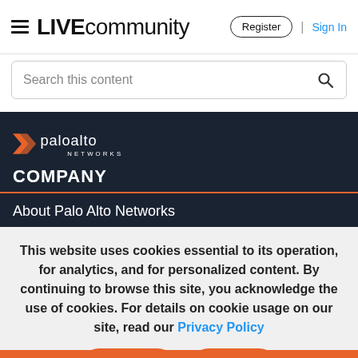≡ LIVEcommunity   Register | Sign In
Search this content
[Figure (logo): Palo Alto Networks logo on dark background with chevron mark]
COMPANY
About Palo Alto Networks
This website uses cookies essential to its operation, for analytics, and for personalized content. By continuing to browse this site, you acknowledge the use of cookies. For details on cookie usage on our site, read our Privacy Policy